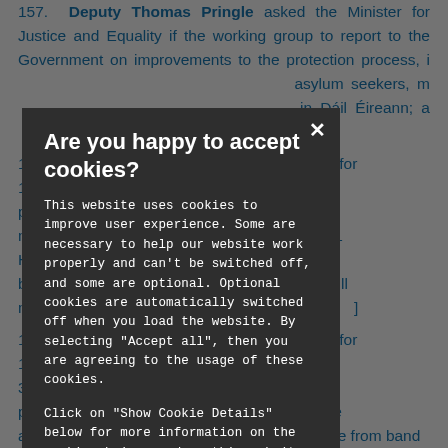157. Deputy Thomas Pringle asked the Minister for Justice and Equality if the working group to report to the Government on improvements to the protection process, i... asylum seekers, m... in Dáil Éireann; a... tter. [24106/15]
1... the Minister for 1... respect of the p... Garda Síochána m... dates in band 1 H... didates will now b... ; and if she will m... ]
1... the Minister for 1... bands 1, 2 and 3... ána recruitment p... ates who have already been chosen for recruitment have come from band...
[Figure (screenshot): Cookie consent modal dialog overlaying the page. Dark background modal with title 'Are you happy to accept cookies?' and body text explaining cookie usage. Close button (×) in top right corner.]